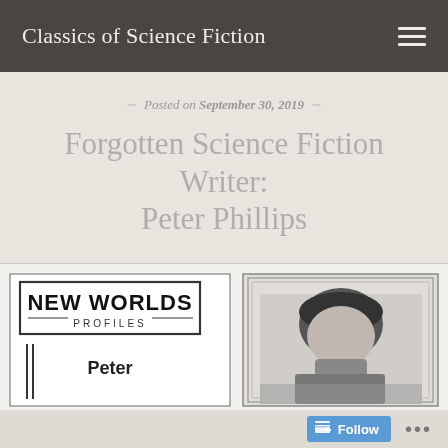Classics of Science Fiction
Posted on September 30, 2019
Forgotten Science Fiction Writer: Peter Phillips
[Figure (photo): Scanned magazine clipping showing 'NEW WORLDS PROFILES' header with the name 'Peter' visible and a black-and-white portrait photograph of a dark-haired man]
Follow ...